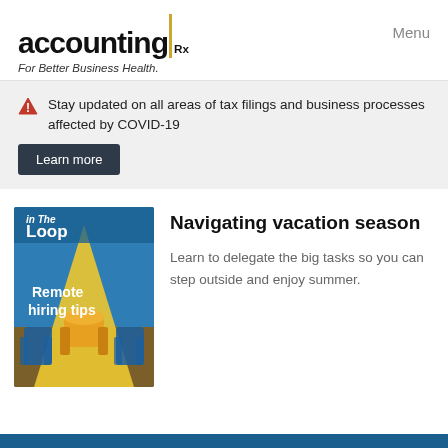accounting Rx — For Better Business Health. | Menu
Stay updated on all areas of tax filings and business processes affected by COVID-19
Learn more
[Figure (illustration): Magazine cover titled 'In The Loop' with text 'Remote hiring tips', showing a yellow/gold chair illuminated under a spotlight with blue chairs on either side, on a blue and brown background.]
Navigating vacation season
Learn to delegate the big tasks so you can step outside and enjoy summer.